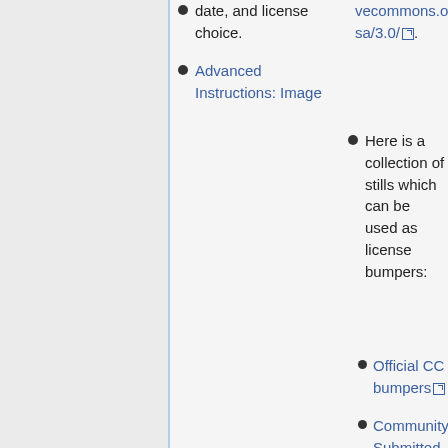date, and license choice.
Advanced Instructions: Image
vecommons.org/licenses/by-sa/3.0/.
Here is a collection of stills which can be used as license bumpers:
Official CC bumpers
Community Submitted bumpers
Advanced Instructions: Video